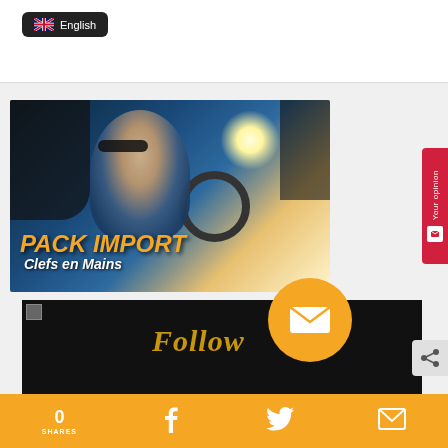[Figure (screenshot): Top white bar with dark language selector button showing UK flag and 'English' text]
[Figure (photo): Advertisement image showing elderly man in suit driving a car with sunglasses, with overlay text 'PACK IMPORT Clefs en Mains' in orange/white italic bold text]
[Figure (screenshot): Dark banner with 'Follow' text in gold/orange italic font, with yellow circle envelope icon overlay]
[Figure (infographic): Bottom golden/orange bar showing share count 0, SHARES label, and social media icons for Facebook, Twitter, and email]